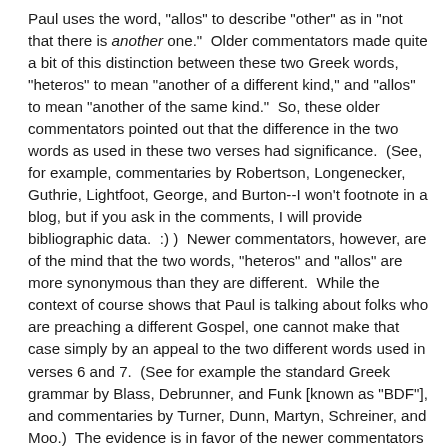Paul uses the word, "allos" to describe "other" as in "not that there is another one."  Older commentators made quite a bit of this distinction between these two Greek words, "heteros" to mean "another of a different kind," and "allos" to mean "another of the same kind."  So, these older commentators pointed out that the difference in the two words as used in these two verses had significance.  (See, for example, commentaries by Robertson, Longenecker, Guthrie, Lightfoot, George, and Burton--I won't footnote in a blog, but if you ask in the comments, I will provide bibliographic data.  :) )  Newer commentators, however, are of the mind that the two words, "heteros" and "allos" are more synonymous than they are different.  While the context of course shows that Paul is talking about folks who are preaching a different Gospel, one cannot make that case simply by an appeal to the two different words used in verses 6 and 7.  (See for example the standard Greek grammar by Blass, Debrunner, and Funk [known as "BDF"], and commentaries by Turner, Dunn, Martyn, Schreiner, and Moo.)  The evidence is in favor of the newer commentators because the word, "heteros" was falling out of use by the first century and being subsumed by "allos."  But I had to know--was there a